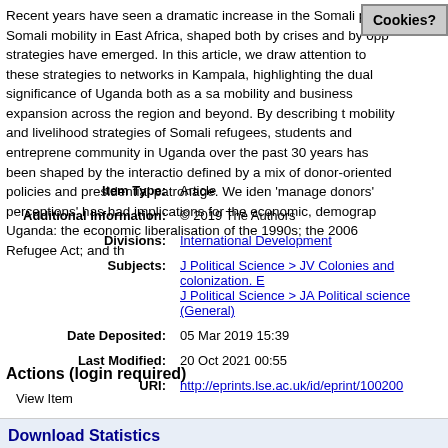Recent years have seen a dramatic increase in the Somali popu Somali mobility in East Africa, shaped both by crises and by opp strategies have emerged. In this article, we draw attention to these strategies to networks in Kampala, highlighting the dual significance of Uganda both as a sa mobility and business expansion across the region and beyond. By describing t mobility and livelihood strategies of Somali refugees, students and entreprene community in Uganda over the past 30 years has been shaped by the interactio defined by a mix of donor-oriented policies and presidential patronage. We ide 'manage donors' perceptions' has had implications for the economic, demogra Uganda: the economic liberalisation of the 1990s; the 2006 Refugee Act; and th
| Item Type: | Article |
| Additional Information: | © 2019 The Authors |
| Divisions: | International Development |
| Subjects: | J Political Science > JV Colonies and colonization. E
J Political Science > JA Political science (General) |
| Date Deposited: | 05 Mar 2019 15:39 |
| Last Modified: | 20 Oct 2021 00:55 |
| URI: | http://eprints.lse.ac.uk/id/eprint/100200 |
Actions (login required)
View Item
Download Statistics